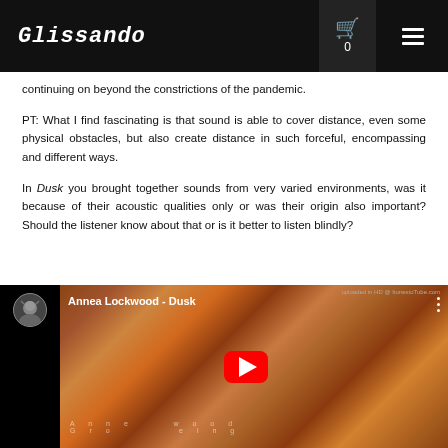Glissando  🛒 0  ☰
continuing on beyond the constrictions of the pandemic.
PT: What I find fascinating is that sound is able to cover distance, even some physical obstacles, but also create distance in such forceful, encompassing and different ways.
In Dusk you brought together sounds from very varied environments, was it because of their acoustic qualities only or was their origin also important? Should the listener know about that or is it better to listen blindly?
[Figure (screenshot): YouTube video embed showing 'Annea Lockwood - Dusk' with a play button overlay on a swirling wood-grain texture background, with the channel avatar on the left and 'uploaded in HD @ ItunestoTube.com' watermark.]